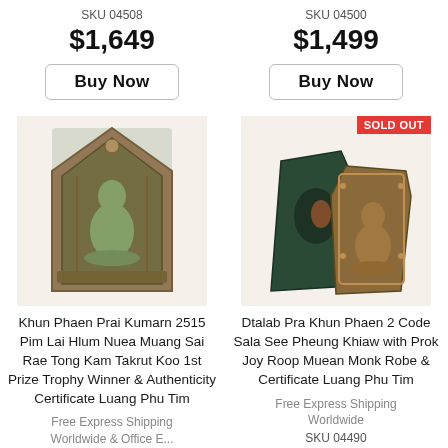SKU 04508
$1,649
Buy Now
SKU 04500
$1,499
Buy Now
[Figure (photo): Thai Buddhist amulet - Khun Phaen Prai Kumarn 2515, clay tablet with seated Buddha figure inside shrine-shaped frame, green patina]
[Figure (photo): Two Thai Buddhist amulets - Dtalab Pra Khun Phaen 2 Code Sala See Pheung Khiaw, dark green stone piece and bronze seated Buddha amulet with 'SOLD OUT' badge]
Khun Phaen Prai Kumarn 2515 Pim Lai Hlum Nuea Muang Sai Rae Tong Kam Takrut Koo 1st Prize Trophy Winner & Authenticity Certificate Luang Phu Tim
Dtalab Pra Khun Phaen 2 Code Sala See Pheung Khiaw with Prok Joy Roop Muean Monk Robe & Certificate Luang Phu Tim
Free Express Shipping Worldwide
Free Express Shipping Worldwide
SKU 04490
$1,399